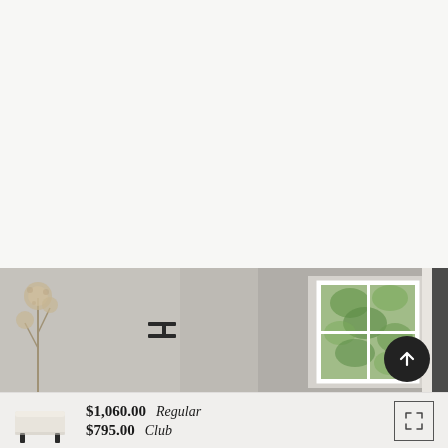[Figure (photo): Interior room scene showing a white-framed window with green foliage visible outside, a dark metal wall mount/hook on a gray wall, and dried flowers/plant in the foreground left. Partial view of a dark-framed window on the right edge.]
[Figure (photo): Small thumbnail image of an upholstered storage bench/ottoman in cream/white fabric with dark legs.]
$1,060.00  Regular
$795.00  Club